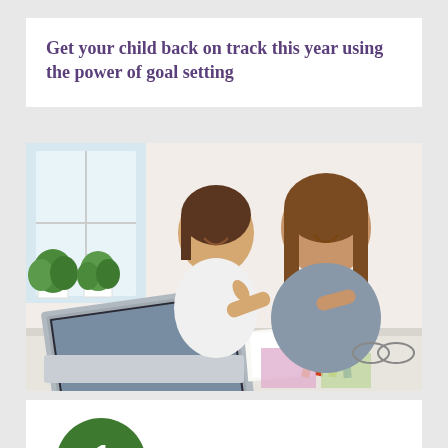Get your child back on track this year using the power of goal setting
[Figure (photo): A woman and a young girl sitting together at a table looking at a laptop screen. The girl is pointing at the screen enthusiastically. There are green plants in the background near a window. Colored pencils and papers are on the table.]
[Figure (infographic): A large green circle containing the number 1 in white, partially visible at the bottom of the page, indicating a numbered list item.]